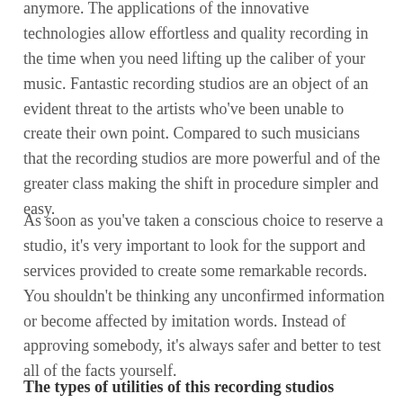anymore. The applications of the innovative technologies allow effortless and quality recording in the time when you need lifting up the caliber of your music. Fantastic recording studios are an object of an evident threat to the artists who've been unable to create their own point. Compared to such musicians that the recording studios are more powerful and of the greater class making the shift in procedure simpler and easy.
As soon as you've taken a conscious choice to reserve a studio, it's very important to look for the support and services provided to create some remarkable records. You shouldn't be thinking any unconfirmed information or become affected by imitation words. Instead of approving somebody, it's always safer and better to test all of the facts yourself.
The types of utilities of this recording studios